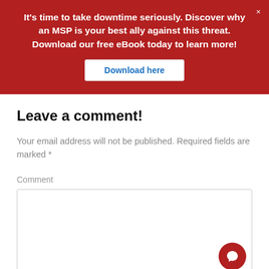It's time to take downtime seriously. Discover why an MSP is your best ally against this threat. Download our free eBook today to learn more!
Download here
Leave a comment!
Your email address will not be published. Required fields are marked *
Comment